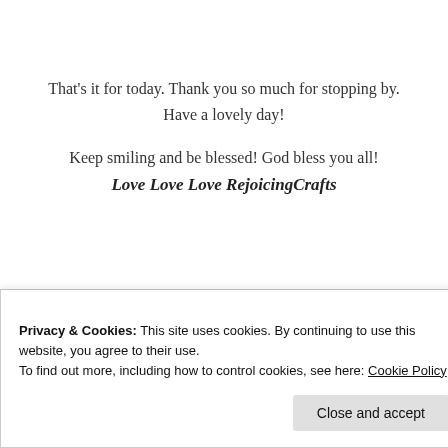That's it for today. Thank you so much for stopping by.
Have a lovely day!
Keep smiling and be blessed! God bless you all!
Love Love Love RejoicingCrafts
[Figure (illustration): Row of craft/printable product thumbnail images including jewelry, a tag/label printable, a 'YOU' printable, a blessing/prayer printable, and a geometric pattern card.]
Privacy & Cookies: This site uses cookies. By continuing to use this website, you agree to their use.
To find out more, including how to control cookies, see here: Cookie Policy
Close and accept